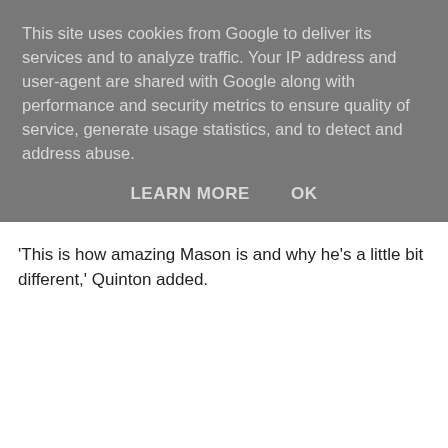This site uses cookies from Google to deliver its services and to analyze traffic. Your IP address and user-agent are shared with Google along with performance and security metrics to ensure quality of service, generate usage statistics, and to detect and address abuse.
LEARN MORE   OK
'This is how amazing Mason is and why he’s a little bit different,' Quinton added.